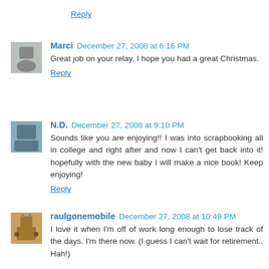Reply
Marci  December 27, 2008 at 6:16 PM
Great job on your relay. I hope you had a great Christmas.
Reply
N.D.  December 27, 2008 at 9:10 PM
Sounds like you are enjoying!! I was into scrapbooking all in college and right after and now I can't get back into it! hopefully with the new baby I will make a nice book! Keep enjoying!
Reply
raulgonemobile  December 27, 2008 at 10:49 PM
I love it when I'm off of work long enough to lose track of the days. I'm there now. (I guess I can't wait for retirement.. Hah!)